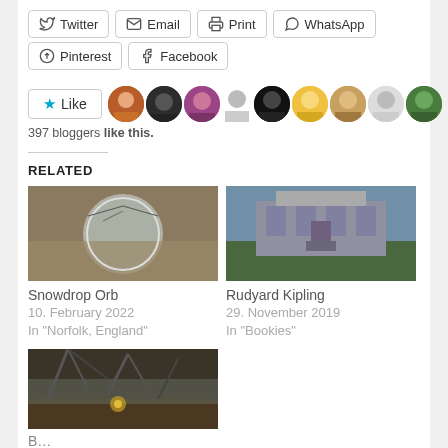[Figure (other): Row of social share buttons: Twitter, Email, Print, WhatsApp]
[Figure (other): Row of social share buttons: Pinterest, Facebook]
[Figure (other): Like button with star icon and row of blogger avatars]
397 bloggers like this.
RELATED
[Figure (photo): Snowdrop Orb - glass orb reflecting bare winter trees]
Snowdrop Orb
10. February 2022
In "Norfolk, England"
[Figure (photo): Rudyard Kipling - large English manor house with lawn]
Rudyard Kipling
29. November 2019
In "Bookies"
[Figure (photo): Partially visible photo of trees with gnarled branches at dusk]